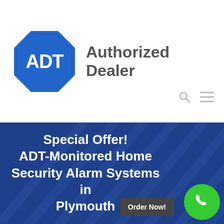[Figure (logo): ADT blue octagon logo with white ADT text, followed by 'Authorized Dealer' in bold dark gray text]
Special Offer! ADT-Monitored Home Security Alarm Systems in Plymouth
Order Now!